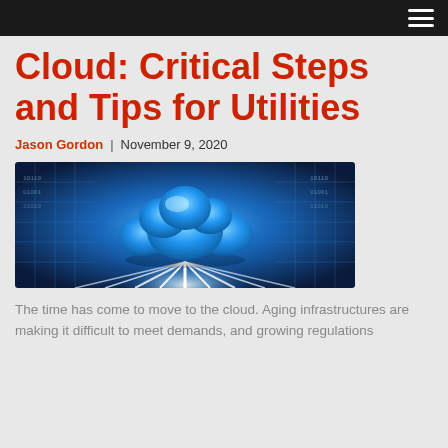☰
Cloud: Critical Steps and Tips for Utilities
Jason Gordon | November 9, 2020
[Figure (illustration): Blue 3D cloud computing icon floating above glowing light beams on a blue digital background with binary code patterns]
The time has come to move to the cloud. Aging infrastructures are making it difficult to meet demands, and growing regulations